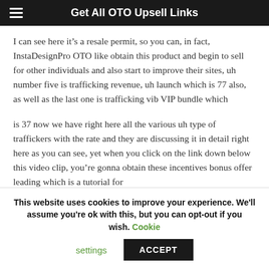Get All OTO Upsell Links
I can see here it’s a resale permit, so you can, in fact, InstaDesignPro OTO like obtain this product and begin to sell for other individuals and also start to improve their sites, uh number five is trafficking revenue, uh launch which is 77 also, as well as the last one is trafficking vib VIP bundle which
is 37 now we have right here all the various uh type of traffickers with the rate and they are discussing it in detail right here as you can see, yet when you click on the link down below this video clip, you’re gonna obtain these incentives bonus offer leading which is a tutorial for
This website uses cookies to improve your experience. We’ll assume you’re ok with this, but you can opt-out if you wish. Cookie settings ACCEPT